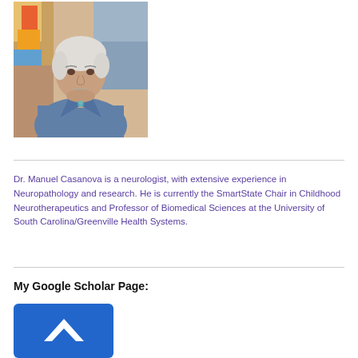[Figure (photo): Headshot photograph of Dr. Manuel Casanova, an older man with white/grey hair, wearing a blue shirt, with colorful artwork visible in the background.]
Dr. Manuel Casanova is a neurologist, with extensive experience in Neuropathology and research. He is currently the SmartState Chair in Childhood Neurotherapeutics and Professor of Biomedical Sciences at the University of South Carolina/Greenville Health Systems.
My Google Scholar Page:
[Figure (logo): Google Scholar page logo/icon — blue rounded rectangle with a white arrow/chevron icon.]